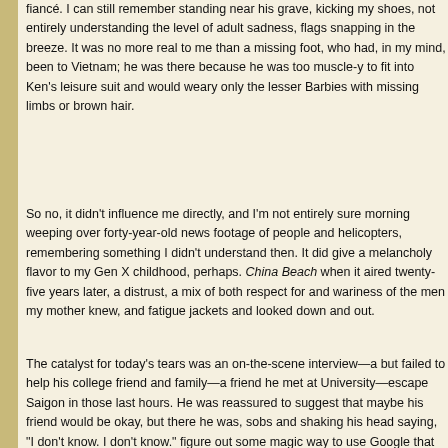fiancé. I can still remember standing near his grave, kicking my shoes, not entirely understanding the level of adult sadness, flags snapping in the breeze. It was no more real to me than a missing foot, who had, in my mind, been to Vietnam; he was there because he was too muscle-y to fit into Ken's leisure suit and would weary only the lesser Barbies with missing limbs or brown hair.
So no, it didn't influence me directly, and I'm not entirely sure morning weeping over forty-year-old news footage of people and helicopters, remembering something I didn't understand then. It did give a melancholy flavor to my Gen X childhood, perhaps. China Beach when it aired twenty-five years later, a distrust, a mix of both respect for and wariness of the men my mother knew, and fatigue jackets and looked down and out.
The catalyst for today's tears was an on-the-scene interview—a but failed to help his college friend and family—a friend he met at University—escape Saigon in those last hours. He was reassured to suggest that maybe his friend would be okay, but there he was, sobs and shaking his head saying, "I don't know. I don't know." figure out some magic way to use Google that would allow me to that man's friend survived or not; I failed.